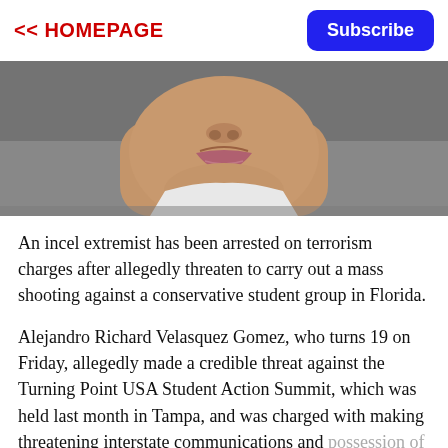<< HOMEPAGE | Subscribe
[Figure (photo): Close-up mugshot photo of a young person's face (chin, nose, lips visible), cropped at the forehead, gray background, wearing a white and orange shirt.]
An incel extremist has been arrested on terrorism charges after allegedly threaten to carry out a mass shooting against a conservative student group in Florida.
Alejandro Richard Velasquez Gomez, who turns 19 on Friday, allegedly made a credible threat against the Turning Point USA Student Action Summit, which was held last month in Tampa, and was charged with making threatening interstate communications and possession of child pornography, reported the San